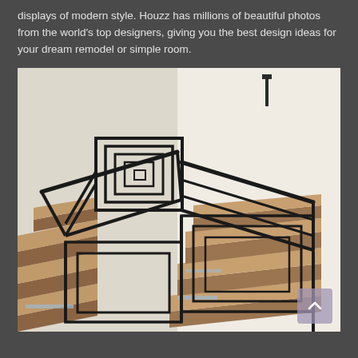displays of modern style. Houzz has millions of beautiful photos from the world's top designers, giving you the best design ideas for your dream remodel or simple room.
[Figure (photo): Interior staircase with geometric black metal railing featuring nested square patterns. Stairs have wooden treads with white risers. The railing design shows concentric square motifs. A wall-mounted fixture is visible in the background.]